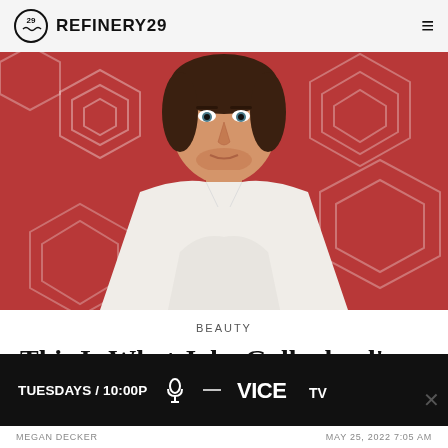REFINERY29
[Figure (photo): Man with dark hair wearing a white shirt/blazer posing in front of a red geometric hexagon patterned background]
BEAUTY
This Is What Jake Gyllenhaal's Home Smells Like
[Figure (screenshot): VICE TV advertisement banner: TUESDAYS / 10:00P with microphone icon and VICE TV logo on black background]
MEGAN DECKER   MAY 25, 2022 7:05 AM